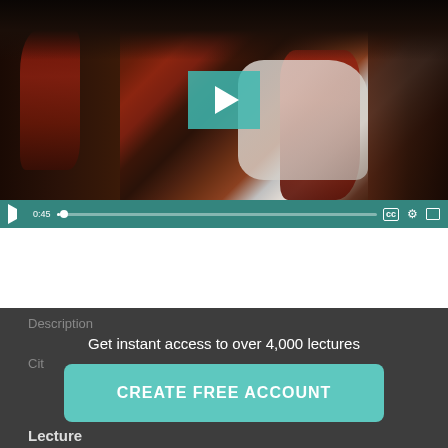[Figure (screenshot): Video player showing a classical painting (likely Othello scene) with a play button overlay and video controls bar showing timestamp 0:45]
Get instant access to over 4,000 lectures
CREATE FREE ACCOUNT
Description
Cit
Lecture